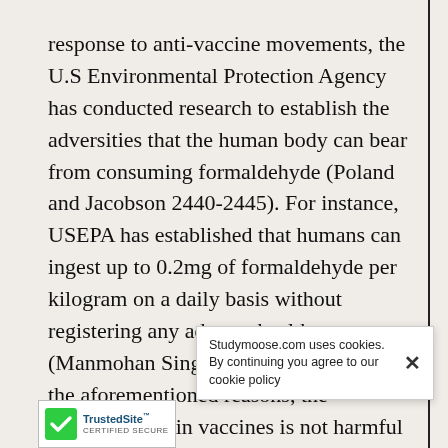response to anti-vaccine movements, the U.S Environmental Protection Agency has conducted research to establish the adversities that the human body can bear from consuming formaldehyde (Poland and Jacobson 2440-2445). For instance, USEPA has established that humans can ingest up to 0.2mg of formaldehyde per kilogram on a daily basis without registering any adverse health outcomes (Manmohan Singh and Srivasta). With all the aforementioned reasons, the formaldehyde in vaccines is not harmful and it plays certain roles in the consumers' health. Other than formaldehyde, vaccines have been said to have other a... This has also been s... llness. Ho...